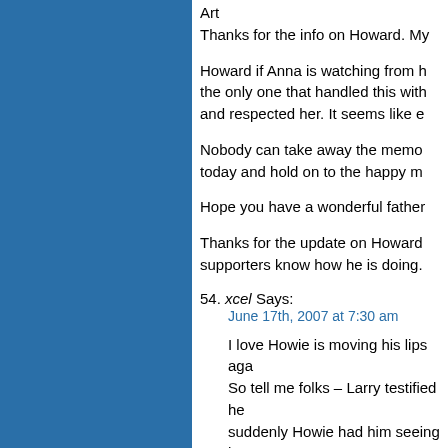Art
Thanks for the info on Howard. My
Howard if Anna is watching from h the only one that handled this with and respected her. It seems like e
Nobody can take away the memo today and hold on to the happy m
Hope you have a wonderful father
Thanks for the update on Howard supporters know how he is doing.
54. xcel Says:
June 17th, 2007 at 7:30 am
I love Howie is moving his lips aga So tell me folks – Larry testified he suddenly Howie had him seeing h was June 18th.
Very interesting!
Oh wait, Howie did catch himself i He switches quickly to the year be didn't he? Gee, you mean Daniel now why would that be? Wouldn't